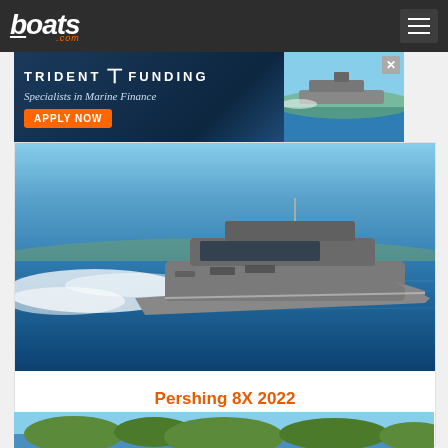boats.com
[Figure (photo): Trident Funding advertisement banner - Specialists in Marine Finance with APPLY NOW button]
[Figure (photo): Large grey luxury motor yacht (Pershing 8X) speeding through blue ocean water with white wake, viewed from the side]
Pershing 8X 2022
Op aanvraag
[Figure (photo): Partial view of another boat listing below, showing blue sky and vegetation]